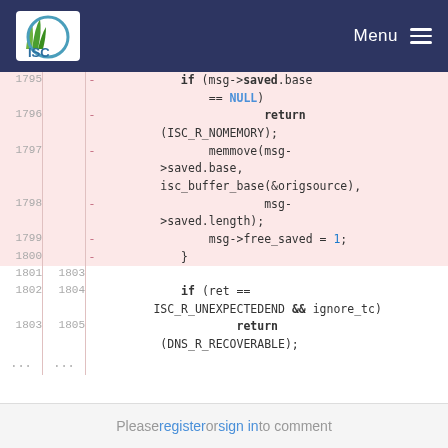ISC | Menu
[Figure (screenshot): Code diff view showing removed lines 1795-1800 with pink background and unchanged lines 1801-1805 with white background. Code involves msg->saved.base NULL check, memmove, and DNS recoverable return.]
Please register or sign in to comment